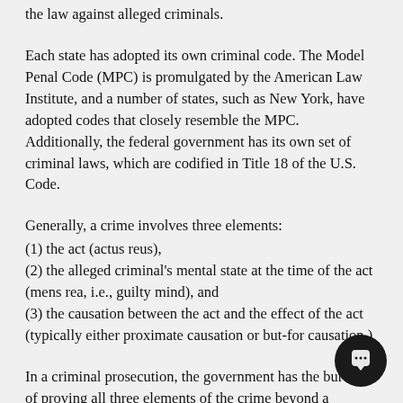the law against alleged criminals.
Each state has adopted its own criminal code. The Model Penal Code (MPC) is promulgated by the American Law Institute, and a number of states, such as New York, have adopted codes that closely resemble the MPC. Additionally, the federal government has its own set of criminal laws, which are codified in Title 18 of the U.S. Code.
Generally, a crime involves three elements:
(1) the act (actus reus),
(2) the alleged criminal's mental state at the time of the act (mens rea, i.e., guilty mind), and
(3) the causation between the act and the effect of the act (typically either proximate causation or but-for causation.)
In a criminal prosecution, the government has the burden of proving all three elements of the crime beyond a reasonable doubt.
Each crime can generally fall into one of several categories including felonies, misdemeanors, inchoate offenses, and strict